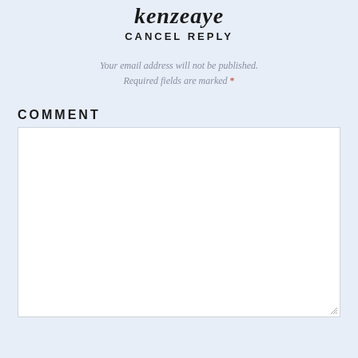kenzeaye
CANCEL REPLY
Your email address will not be published. Required fields are marked *
COMMENT
[Figure (other): Empty comment textarea input box with resize handle]